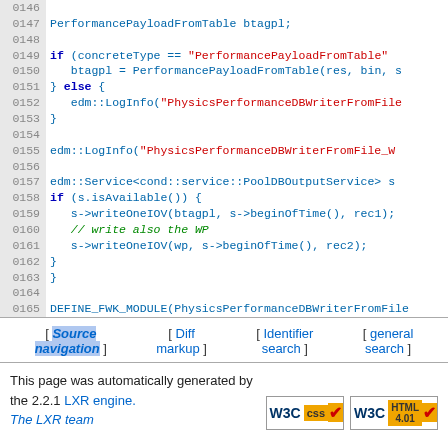[Figure (screenshot): Source code listing lines 0146-0165 showing C++ code for PhysicsPerformanceDBWriterFromFile with line numbers in gray background on left, code in blue/red/green on white background]
[ Source navigation ] [ Diff markup ] [ Identifier search ] [ general search ]
This page was automatically generated by the 2.2.1 LXR engine. The LXR team
[Figure (logo): W3C CSS and W3C HTML 4.01 validation badges]